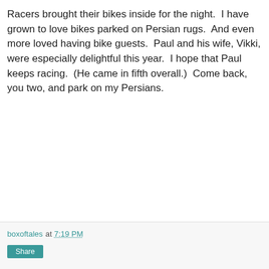Racers brought their bikes inside for the night.  I have grown to love bikes parked on Persian rugs.  And even more loved having bike guests.  Paul and his wife, Vikki, were especially delightful this year.  I hope that Paul keeps racing.  (He came in fifth overall.)  Come back, you two, and park on my Persians.
boxoftales at 7:19 PM